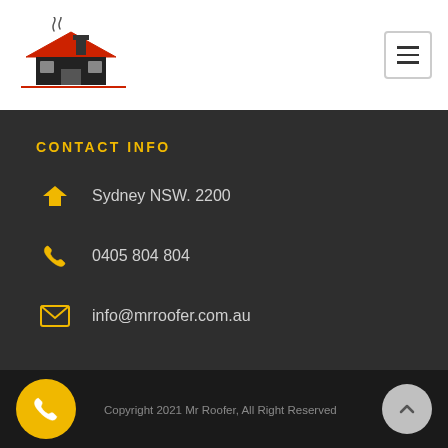[Figure (logo): Mr Roofer logo with red house and chimney illustration and text 'Mr Roofer']
CONTACT INFO
Sydney NSW. 2200
0405 804 804
info@mrroofer.com.au
Copyright 2021 Mr Roofer, All Right Reserved